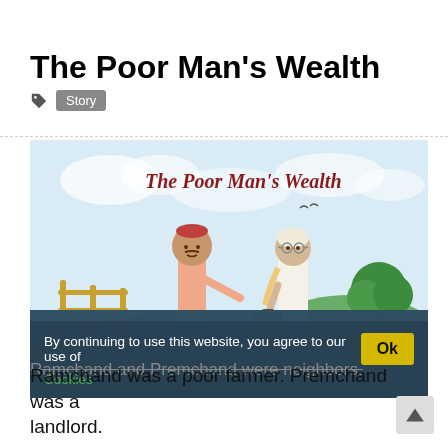The Poor Man’s Wealth
Story
[Figure (illustration): Illustrated book cover for 'The Poor Man’s Wealth' showing two figures — a man in pink clothes with a cap extending his hand, and an older man in white carrying a briefcase — in a rural landscape with green hills, a tree, and a hut in the background. The title 'The Poor Man’s Wealth' is written in dark red text at the top of the illustration.]
By continuing to use this website, you agree to our use of Cookies
Ramchand and Premchand were neighbors.
Ramchand was a poor farmer. Premchand was a landlord.